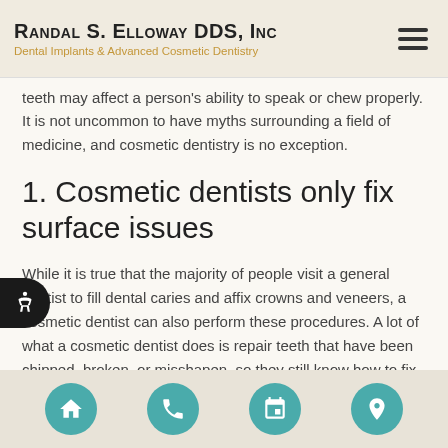Randal S. Elloway DDS, Inc — Dental Implants & Advanced Cosmetic Dentistry
teeth may affect a person's ability to speak or chew properly. It is not uncommon to have myths surrounding a field of medicine, and cosmetic dentistry is no exception.
1. Cosmetic dentists only fix surface issues
While it is true that the majority of people visit a general dentist to fill dental caries and affix crowns and veneers, a cosmetic dentist can also perform these procedures. A lot of what a cosmetic dentist does is repair teeth that have been chipped, broken, or misshapen, so they still know how to fix issues in teeth that go beyond that surface and receive the same basic training as a general dentist.
Navigation icons: home, phone, calendar, location